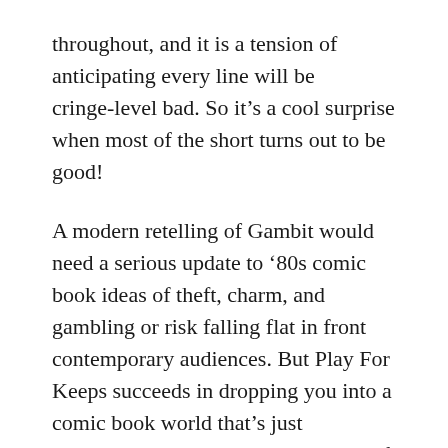throughout, and it is a tension of anticipating every line will be cringe-level bad. So it's a cool surprise when most of the short turns out to be good!
A modern retelling of Gambit would need a serious update to '80s comic book ideas of theft, charm, and gambling or risk falling flat in front contemporary audiences. But Play For Keeps succeeds in dropping you into a comic book world that's just believable enough to be 20-minutes of fun.
30. June 2020